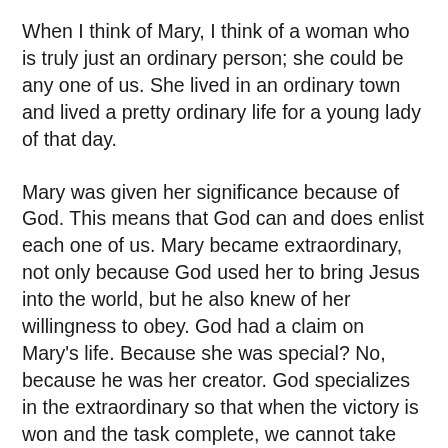When I think of Mary, I think of a woman who is truly just an ordinary person; she could be any one of us. She lived in an ordinary town and lived a pretty ordinary life for a young lady of that day.
Mary was given her significance because of God. This means that God can and does enlist each one of us. Mary became extraordinary, not only because God used her to bring Jesus into the world, but he also knew of her willingness to obey. God had a claim on Mary's life. Because she was special? No, because he was her creator. God specializes in the extraordinary so that when the victory is won and the task complete, we cannot take any credit.
Mary understood the claim on her life when she was